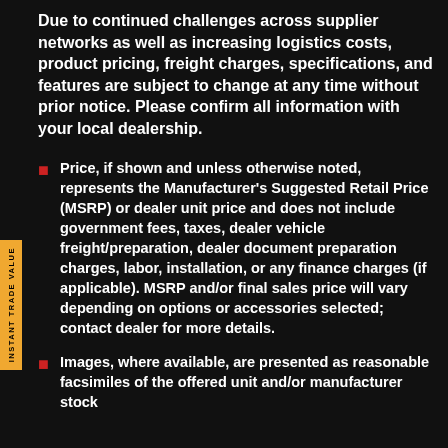Due to continued challenges across supplier networks as well as increasing logistics costs, product pricing, freight charges, specifications, and features are subject to change at any time without prior notice. Please confirm all information with your local dealership.
Price, if shown and unless otherwise noted, represents the Manufacturer's Suggested Retail Price (MSRP) or dealer unit price and does not include government fees, taxes, dealer vehicle freight/preparation, dealer document preparation charges, labor, installation, or any finance charges (if applicable). MSRP and/or final sales price will vary depending on options or accessories selected; contact dealer for more details.
Images, where available, are presented as reasonable facsimiles of the offered unit and/or manufacturer stock